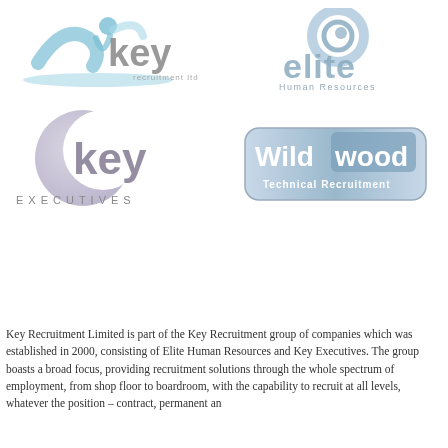[Figure (logo): Key Recruitment Ltd logo — light blue figure/swoosh graphic with grey 'key' wordmark and 'recruitment ltd' text below]
[Figure (logo): Elite Human Resources logo — blue circular swirl icon with 'elite' in grey-blue and 'Human Resources' subtitle]
[Figure (logo): Key Executives logo — large grey-purple crescent/moon shape with 'key' wordmark and 'EXECUTIVES' in spaced caps below]
[Figure (logo): Wildwood Technical Recruitment logo — rounded rectangle badge with blue/grey background, 'Wild wood' in white and 'Technical Recruitment' subtitle]
Key Recruitment Limited is part of the Key Recruitment group of companies which was established in 2000, consisting of Elite Human Resources and Key Executives. The group boasts a broad focus, providing recruitment solutions through the whole spectrum of employment, from shop floor to boardroom, with the capability to recruit at all levels, whatever the position – contract, permanent an